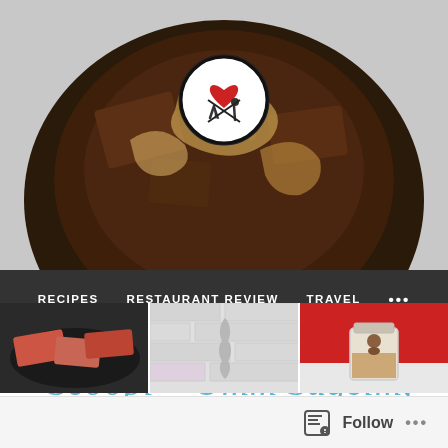[Figure (photo): Header photo of chocolate dessert with a circular logo overlay showing a red heart, fork and spoon icons on dark background]
RECIPES   RESTAURANT REVIEW   TRAVEL   ...
OCTOBER 31, 2016 BY RUCHI
Scoopi – Umm Suqeim, Dubai
[Figure (photo): Three thumbnail images: pink/red food items on dark pan, violin/fiddle on grey brick wall, jar with contents on red background]
Follow ...